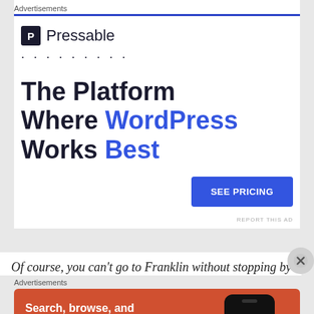Advertisements
[Figure (infographic): Pressable advertisement: logo with P icon and name, dots, headline 'The Platform Where WordPress Works Best', blue SEE PRICING button]
Of course, you can't go to Franklin without stopping by
Advertisements
[Figure (infographic): DuckDuckGo advertisement with orange background: Search, browse, and email with more privacy. All in One Free App. Shows phone with DuckDuckGo logo.]